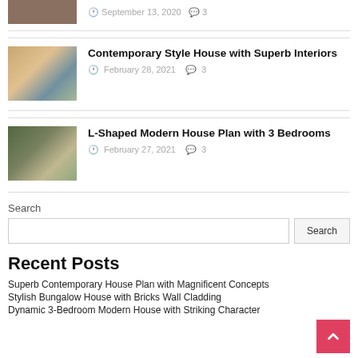[Figure (photo): Partial house thumbnail cut off at top of page]
September 13, 2020  3
[Figure (photo): Contemporary style house exterior photo]
Contemporary Style House with Superb Interiors
February 28, 2021  3
[Figure (photo): L-shaped modern house exterior photo]
L-Shaped Modern House Plan with 3 Bedrooms
February 27, 2021  3
Search
Recent Posts
Superb Contemporary House Plan with Magnificent Concepts
Stylish Bungalow House with Bricks Wall Cladding
Dynamic 3-Bedroom Modern House with Striking Character
[Figure (illustration): Back to top arrow button in red/pink]